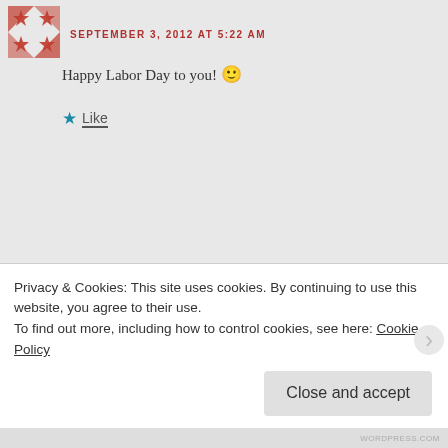SEPTEMBER 3, 2012 AT 5:22 AM
Happy Labor Day to you! 🙂
★ Like
Yael
SEPTEMBER 3, 2012 AT 5:32 PM
Debra,
And a Happy Labor Day to you too. Here it has
Privacy & Cookies: This site uses cookies. By continuing to use this website, you agree to their use.
To find out more, including how to control cookies, see here: Cookie Policy
Close and accept